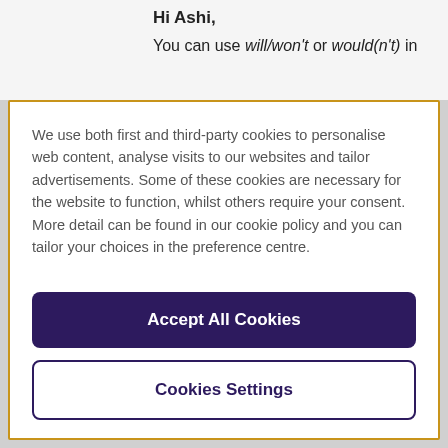Hi Ashi,
You can use will/won't or would(n't) in
We use both first and third-party cookies to personalise web content, analyse visits to our websites and tailor advertisements. Some of these cookies are necessary for the website to function, whilst others require your consent. More detail can be found in our cookie policy and you can tailor your choices in the preference centre.
Accept All Cookies
Cookies Settings